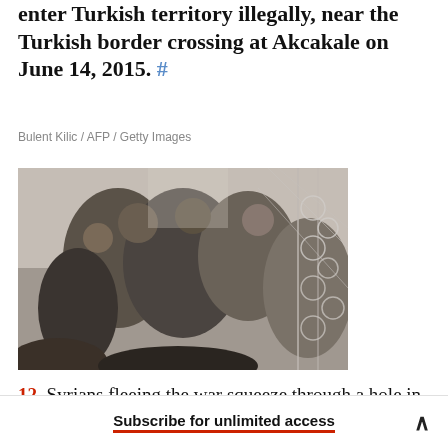enter Turkish territory illegally, near the Turkish border crossing at Akcakale on June 14, 2015. #
Bulent Kilic / AFP / Getty Images
[Figure (photo): People squeezing through a hole in a wire/razor-wire border fence, photographed from close range. Multiple people visible pressing through the fence.]
12. Syrians fleeing the war squeeze through a hole in a border fence to
Subscribe for unlimited access